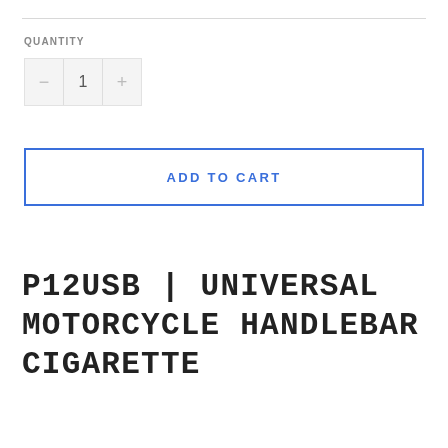QUANTITY
[Figure (other): Quantity selector control with minus button, value '1', and plus button]
ADD TO CART
P12USB | UNIVERSAL MOTORCYCLE HANDLEBAR CIGARETTE